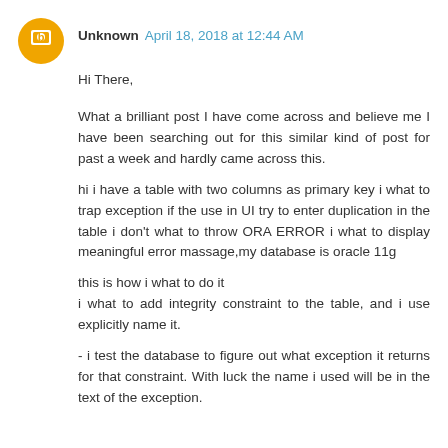Unknown April 18, 2018 at 12:44 AM
Hi There,
What a brilliant post I have come across and believe me I have been searching out for this similar kind of post for past a week and hardly came across this.
hi i have a table with two columns as primary key i what to trap exception if the use in UI try to enter duplication in the table i don't what to throw ORA ERROR i what to display meaningful error massage,my database is oracle 11g
this is how i what to do it
i what to add integrity constraint to the table, and i use explicitly name it.
- i test the database to figure out what exception it returns for that constraint. With luck the name i used will be in the text of the exception.